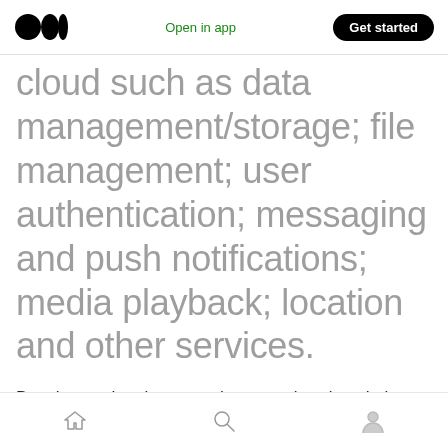Open in app | Get started
cloud such as data management/storage; file management; user authentication; messaging and push notifications; media playback; location and other services.
Developers then integrate these services into their apps to simplify their application
Home | Search | Profile